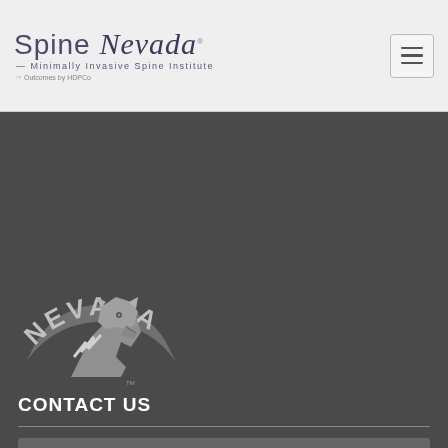[Figure (logo): Spine Nevada Minimally Invasive Spine Institute logo with tagline 'Outcomes by HDPCo']
[Figure (logo): University of Nevada Wolf Pack athletic logo in grey on dark background]
CONTACT US
Name
Email
Phone
Submit